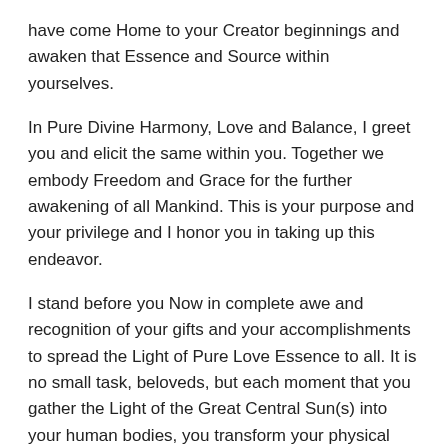have come Home to your Creator beginnings and awaken that Essence and Source within yourselves.
In Pure Divine Harmony, Love and Balance, I greet you and elicit the same within you. Together we embody Freedom and Grace for the further awakening of all Mankind. This is your purpose and your privilege and I honor you in taking up this endeavor.
I stand before you Now in complete awe and recognition of your gifts and your accomplishments to spread the Light of Pure Love Essence to all. It is no small task, beloveds, but each moment that you gather the Light of the Great Central Sun(s) into your human bodies, you transform your physical bodies and embody your potential to bring Divine Empowerment to your BEing and to all in your wake.
Awakening within you now is such a deep deep empowerment of Love Manifest. It is your true identity. Each moment of your long existence in Earth Frequencies through the ages has prepared